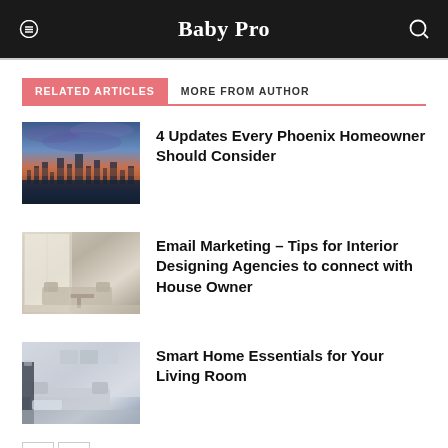Baby Pro
RELATED ARTICLES
MORE FROM AUTHOR
[Figure (photo): Aerial city view at dusk with purple sky, Phoenix skyline]
4 Updates Every Phoenix Homeowner Should Consider
[Figure (photo): Modern interior room with white walls and minimalist furniture]
Email Marketing – Tips for Interior Designing Agencies to connect with House Owner
[Figure (photo): Living room with sofa, lamp, and wall art in neutral tones]
Smart Home Essentials for Your Living Room